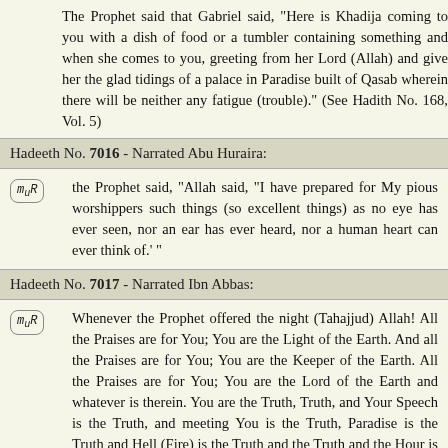The Prophet said that Gabriel said, "Here is Khadija coming to you with a dish of food or a tumbler containing something and when she comes to you, greet her on behalf of her Lord (Allah) and give her the glad tidings of a palace in Paradise built of Qasab wherein there will be neither any noise nor any fatigue (trouble)." (See Hadith No. 168, Vol. 5)
Hadeeth No. 7016 - Narrated Abu Huraira:
the Prophet said, "Allah said, "I have prepared for My pious worshippers such things (so excellent things) as no eye has ever seen, nor an ear has ever heard of, nor a human heart can ever think of.' "
Hadeeth No. 7017 - Narrated Ibn Abbas:
Whenever the Prophet offered the night (Tahajjud) prayer, he used to say, "O Allah! All the Praises are for You; You are the Light of the Heavens and the Earth. And all the Praises are for You; You are the Keeper of the Heavens and the Earth. All the Praises are for You; You are the Lord of the Heavens and the Earth and whatever is therein. You are the Truth, and Your Promise is the Truth, and Your Speech is the Truth, and meeting You is the Truth, and Paradise is the Truth and Hell (Fire) is the Truth and the Prophet (Muhammad) is the Truth and the Hour is the Truth. O Allah! I surrender to You, and believe in You, and depend upon You, and repent to You, and with Your help I argue, and with Your orders I rule. So please forgive my past and future sins which I did in secret or in public. It is You Who are my God, there is no right to be worshipped except You ." (See Hadith N